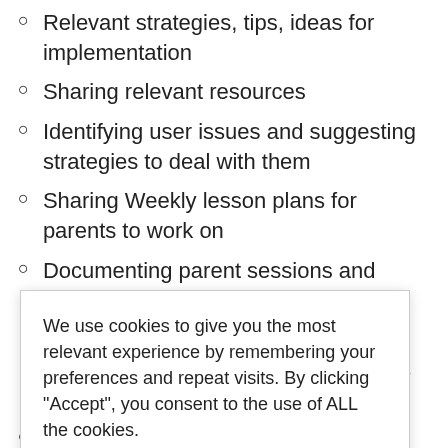Relevant strategies, tips, ideas for implementation
Sharing relevant resources
Identifying user issues and suggesting strategies to deal with them
Sharing Weekly lesson plans for parents to work on
Documenting parent sessions and … weekly basis … nts and
… inst the goals … neasures
Providing feedback to Ayaz team for improving
We use cookies to give you the most relevant experience by remembering your preferences and repeat visits. By clicking "Accept", you consent to the use of ALL the cookies.
Cookie settings
ACCEPT